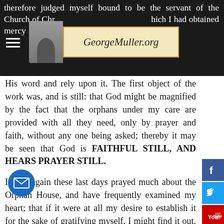therefore judged myself bound to be the servant of the Church of Christ in a work which I had obtained mercy ... make God at His word and rely upon it.
[Figure (logo): GeorgeMuller.org logo with portrait photo and italic text on cream background]
The first object of the work was, and is still: that God might be magnified by the fact that the orphans under my care are provided with all they need, only by prayer and faith, without any one being asked; thereby it may be seen that God is FAITHFUL STILL, AND HEARS PRAYER STILL.
I have again these last days prayed much about the Orphan House, and have frequently examined my heart; that if it were at all my desire to establish it for the sake of gratifying myself, I might find it out. For as I desire only the Lord's glory, I shall be glad to be instructed by the instrumentality of my brother, if the matter be not of d.
When I began the Orphan work in 1835, my chief object